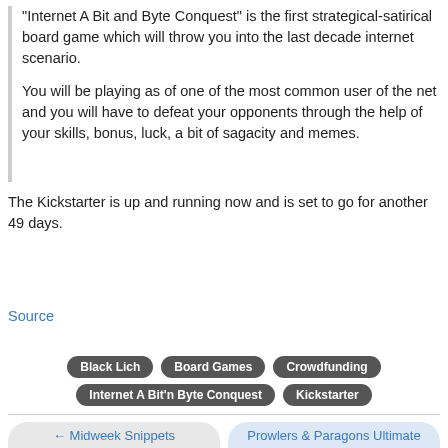"Internet A Bit and Byte Conquest" is the first strategical-satirical board game which will throw you into the last decade internet scenario.

You will be playing as of one of the most common user of the net and you will have to defeat your opponents through the help of your skills, bonus, luck, a bit of sagacity and memes.
The Kickstarter is up and running now and is set to go for another 49 days.
Source
Black Lich
Board Games
Crowdfunding
Internet A Bit'n Byte Conquest
Kickstarter
← Midweek Snippets
Prowlers & Paragons Ultimate Edition RPG